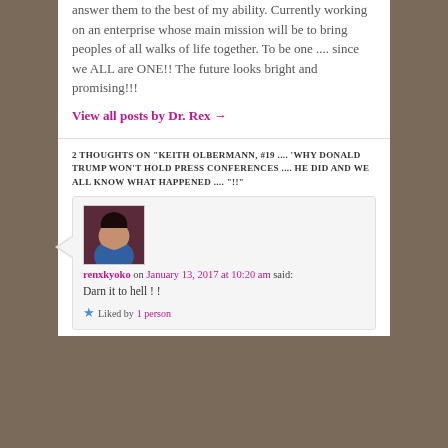answer them to the best of my ability. Currently working on an enterprise whose main mission will be to bring peoples of all walks of life together. To be one .... since we ALL are ONE!! The future looks bright and promising!!!
View all posts by Dr. Rex →
2 THOUGHTS ON "KEITH OLBERMANN, #19 .... 'WHY DONALD TRUMP WON'T HOLD PRESS CONFERENCES .... HE DID AND WE ALL KNOW WHAT HAPPENED .... "!!"
[Figure (photo): Profile photo of commenter renxkyoko - woman in blue dress]
renxkyoko on January 13, 2017 at 10:20 am said:
Darn it to hell ! !
★ Liked by 1 person